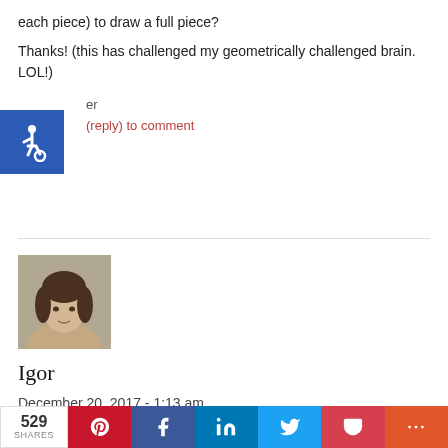each piece) to draw a full piece?
Thanks! (this has challenged my geometrically challenged brain. LOL!)
er
(reply) to comment
[Figure (illustration): Blue accessibility/wheelchair icon badge]
[Figure (photo): Profile photo of commenter Igor – person with short brown hair facing camera]
Igor
December 20, 2017 - 1:13 am
Nice
529 SHARES  [Pinterest] [Facebook] [LinkedIn] [Twitter] [Pocket] [More]